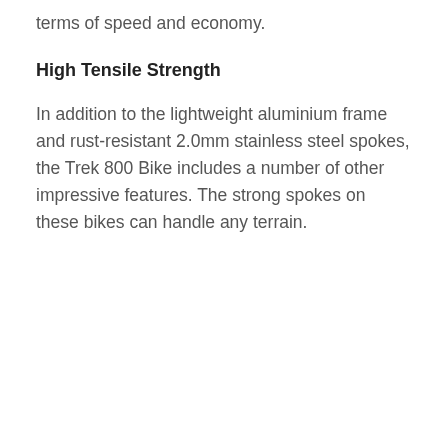terms of speed and economy.
High Tensile Strength
In addition to the lightweight aluminium frame and rust-resistant 2.0mm stainless steel spokes, the Trek 800 Bike includes a number of other impressive features. The strong spokes on these bikes can handle any terrain.